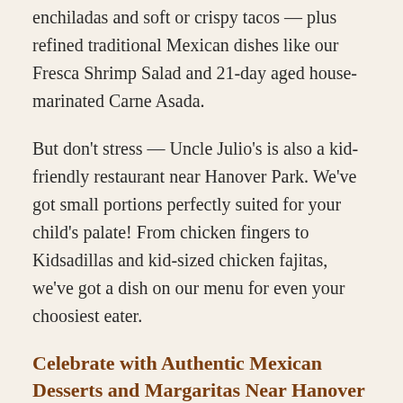enchiladas and soft or crispy tacos — plus refined traditional Mexican dishes like our Fresca Shrimp Salad and 21-day aged house-marinated Carne Asada.
But don't stress — Uncle Julio's is also a kid-friendly restaurant near Hanover Park. We've got small portions perfectly suited for your child's palate! From chicken fingers to Kidsadillas and kid-sized chicken fajitas, we've got a dish on our menu for even your choosiest eater.
Celebrate with Authentic Mexican Desserts and Margaritas Near Hanover Park, IL
You can't have an Uncle Julio's celebration without our famous drinks and desserts! Relax and sip on one of Uncle Julio's signature margaritas. When you're craving something spicy, fruity, on the rocks, or frozen, we're confident you'll be able to select a delicious craft margarita that satisfies your taste buds. Every fruity sip of our famous Sangria Swirl margarita will have you